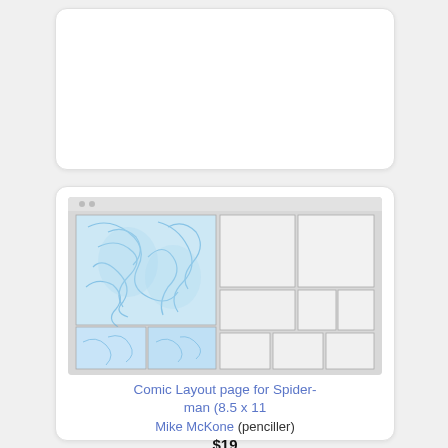[Figure (other): Blank white card placeholder at top]
[Figure (illustration): Comic layout page thumbnail showing Spider-man pencil sketches in blue on left panels, blank panels on right. Grid of comic panels visible.]
Comic Layout page for Spider-man (8.5 x 11
Mike McKone (penciller)
$19